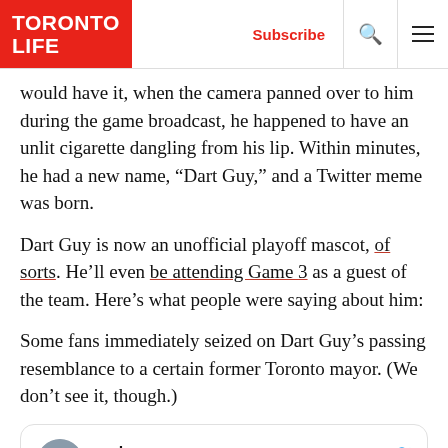TORONTO LIFE | Subscribe [search] [menu]
would have it, when the camera panned over to him during the game broadcast, he happened to have an unlit cigarette dangling from his lip. Within minutes, he had a new name, “Dart Guy,” and a Twitter meme was born.
Dart Guy is now an unofficial playoff mascot, of sorts. He’ll even be attending Game 3 as a guest of the team. Here’s what people were saying about him:
Some fans immediately seized on Dart Guy’s passing resemblance to a certain former Toronto mayor. (We don’t see it, though.)
[Figure (screenshot): Tweet card from @zack_dogepilled with name 'zack', Follow button, and Twitter bird icon. Profile photo shows a young man.]